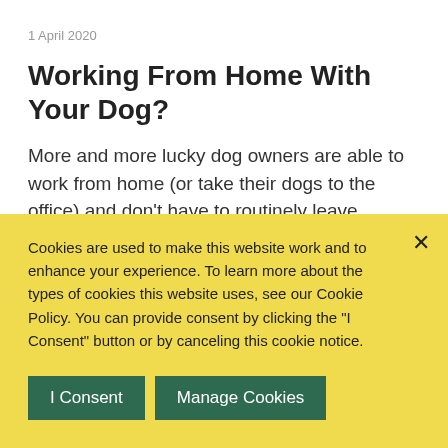1 April 2020
Working From Home With Your Dog?
More and more lucky dog owners are able to work from home (or take their dogs to the office) and don't have to routinely leave...
Cookies are used to make this website work and to enhance your experience. To learn more about the types of cookies this website uses, see our Cookie Policy. You can provide consent by clicking the "I Consent" button or by canceling this cookie notice.
I Consent
Manage Cookies